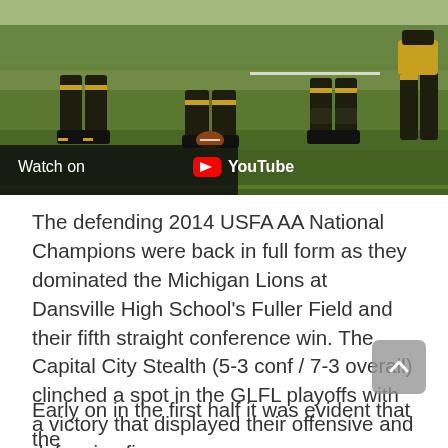[Figure (photo): Football players at ground level with grass in foreground, trees visible in background. YouTube player overlay with 'Watch on YouTube' bar at bottom left of image.]
The defending 2014 USFA AA National Champions were back in full form as they dominated the Michigan Lions at Dansville High School's Fuller Field and their fifth straight conference win. The Capital City Stealth (5-3 conf / 7-3 overall) clinched a spot in the GLFL playoffs with a victory that displayed their offensive and defensive firepower.
Early on in the first half it was evident that the